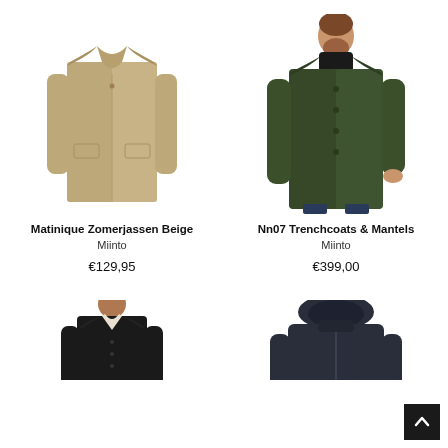[Figure (photo): Beige coat (Matinique Zomerjassen) on white background, no model]
[Figure (photo): Dark olive/green coat (Nn07 Trenchcoats & Mantels) worn by male model with beard and black turtleneck]
Matinique Zomerjassen Beige
Miinto
€129,95
Nn07 Trenchcoats & Mantels
Miinto
€399,00
[Figure (photo): Dark navy/black formal coat worn by male model, partially visible (cropped at bottom)]
[Figure (photo): Dark navy hooded puffer/winter coat on white background, partially visible (cropped at bottom)]